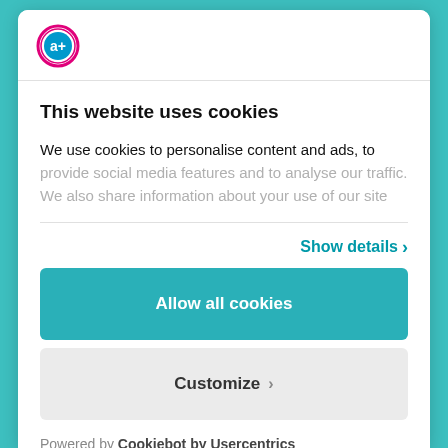[Figure (logo): Company logo with pink/magenta circular icon with 'a+' symbol and blue ring]
This website uses cookies
We use cookies to personalise content and ads, to provide social media features and to analyse our traffic. We also share information about your use of our site
Show details >
Allow all cookies
Customize >
Powered by Cookiebot by Usercentrics